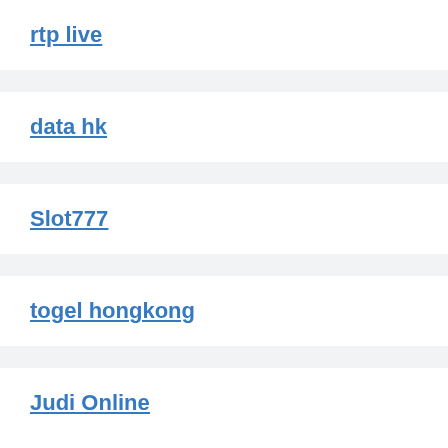rtp live
data hk
Slot777
togel hongkong
Judi Online